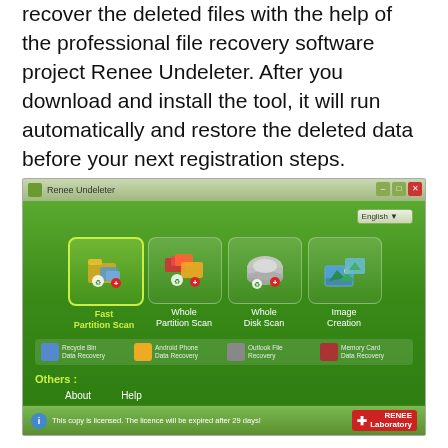recover the deleted files with the help of the professional file recovery software project Renee Undeleter. After you download and install the tool, it will run automatically and restore the deleted data before your next registration steps.
[Figure (screenshot): Screenshot of Renee Undeleter software showing main interface with four options: Fast Partition Scan (selected, highlighted in yellow-green), Whole Partition Scan, Whole Disk Scan, Image Creation. Below are secondary recovery options: Recycle Bin Data Recovery, Android Phone Data Recovery, Outlook File Recovery, Memory Card Data Recovery. An Others section shows About and Help links. Status bar at bottom reads: This copy is licensed. The licence will be expired after 29 days!]